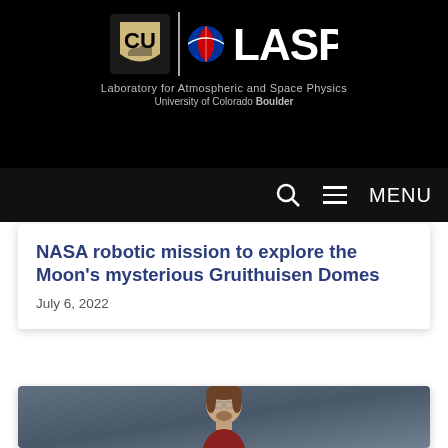[Figure (logo): CU Boulder LASP logo - Laboratory for Atmospheric and Space Physics, University of Colorado Boulder, on black background]
MENU
NASA robotic mission to explore the Moon's mysterious Gruithuisen Domes
July 6, 2022
[Figure (photo): Headshot of a middle-aged man with glasses and short beard wearing a dark red shirt, against a blue-grey background]